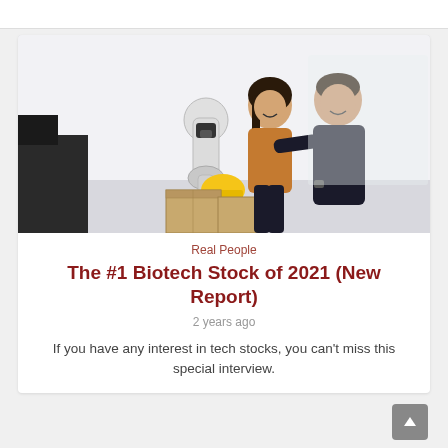[Figure (photo): Two people (a woman in a brown top and a man in a dark shirt) standing next to a white robotic arm in a bright office/warehouse setting with cardboard boxes]
Real People
The #1 Biotech Stock of 2021 (New Report)
2 years ago
If you have any interest in tech stocks, you can't miss this special interview.